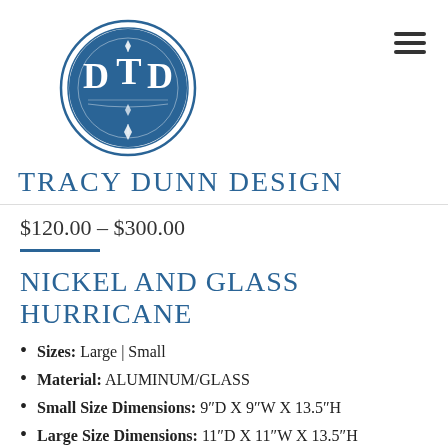[Figure (logo): Tracy Dunn Design circular logo with T and D monogram in blue, double ring border, with diamond shapes]
Tracy Dunn Design
$120.00 – $300.00
Nickel and Glass Hurricane
Sizes: Large | Small
Material: ALUMINUM/GLASS
Small Size Dimensions: 9″D X 9″W X 13.5″H
Large Size Dimensions: 11″D X 11″W X 13.5″H